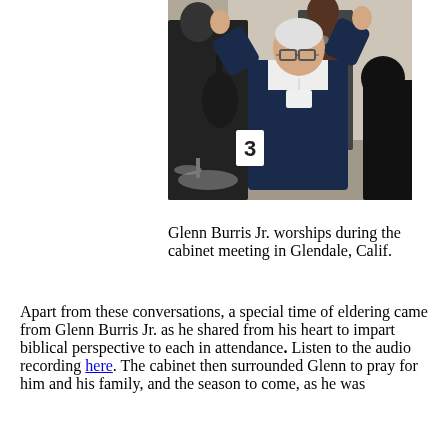[Figure (photo): Glenn Burris Jr. worshipping with arms raised during the cabinet meeting in Glendale, Calif. Two other people visible in the background, one holding a guitar and one at a microphone.]
Glenn Burris Jr. worships during the cabinet meeting in Glendale, Calif.
Apart from these conversations, a special time of eldering came from Glenn Burris Jr. as he shared from his heart to impart biblical perspective to each in attendance. Listen to the audio recording here. The cabinet then surrounded Glenn to pray for him and his family, and the season to come, as he was